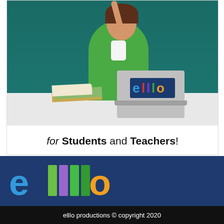[Figure (photo): Photo of a woman in a green cardigan raising one finger, sitting in front of a chalkboard with an open book and a laptop showing the elllo logo sticker. Text below reads: for Students and Teachers!]
[Figure (logo): elllo logo in large colorful letters on a dark navy blue background]
elllo productions © copyright 2020